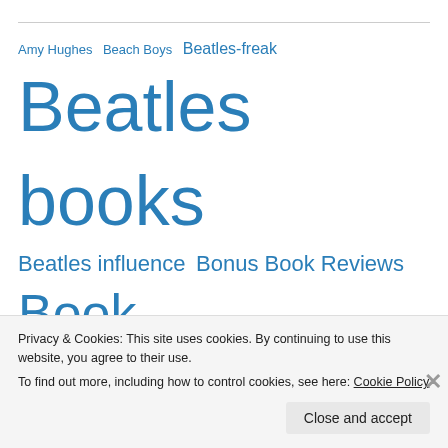[Figure (other): Tag cloud with Beatles/music related tags in varying sizes, all in blue. Tags include: Amy Hughes, Beach Boys, Beatles-freak, Beatles books, Beatles influence, Bonus Book Reviews, Book Review, Contest, Documentary, Events, Fan Fiction, George Harrison, graphic novel, Guest Review, John Lennon, Movie Reviews, movies, music, Off Topic, Paul McCartney, reviews, Ringo Starr, Show, Tea for Tuesday]
Privacy & Cookies: This site uses cookies. By continuing to use this website, you agree to their use.
To find out more, including how to control cookies, see here: Cookie Policy